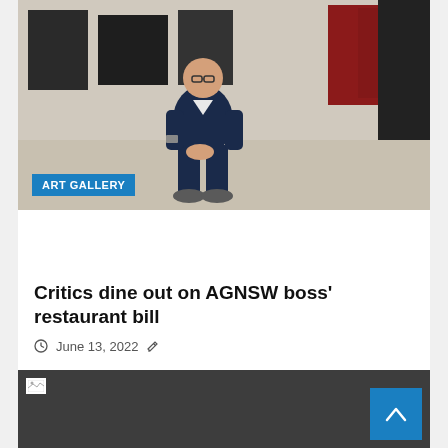[Figure (photo): Man in dark blazer and blue trousers sitting on a bench in an art gallery interior. Blue tag overlay reads ART GALLERY.]
Critics dine out on AGNSW boss' restaurant bill
June 13, 2022
[Figure (photo): Second image with broken image icon, dark gray background with a blue scroll-to-top button (chevron up arrow) in the bottom right corner.]